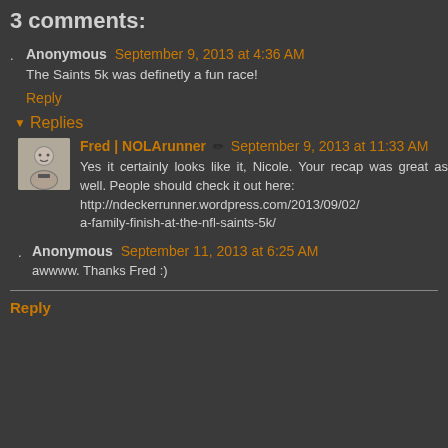3 comments:
Anonymous September 9, 2013 at 4:36 AM
The Saints 5k was definetly a fun race!
Reply
Replies
Fred | NOLArunner September 9, 2013 at 11:33 AM
Yes it certainly looks like it, Nicole. Your recap was great as well. People should check it out here: http://ndeckerrunner.wordpress.com/2013/09/02/a-family-finish-at-the-nfl-saints-5k/
Anonymous September 11, 2013 at 6:25 AM
awwww. Thanks Fred :)
Reply